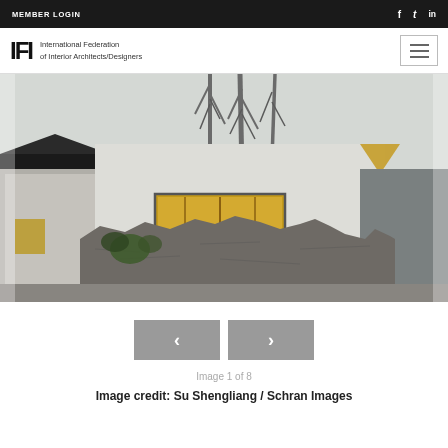MEMBER LOGIN | f | t | in
IFI International Federation of Interior Architects/Designers
[Figure (photo): Architectural photograph showing a modernist building with white rendered walls and a small rectangular wood-framed window, adjacent to ancient ruined stone walls with vegetation, and a dark grey structure to the right. Bare trees visible against overcast sky in background.]
Image 1 of 8
Image credit: Su Shengliang / Schran Images